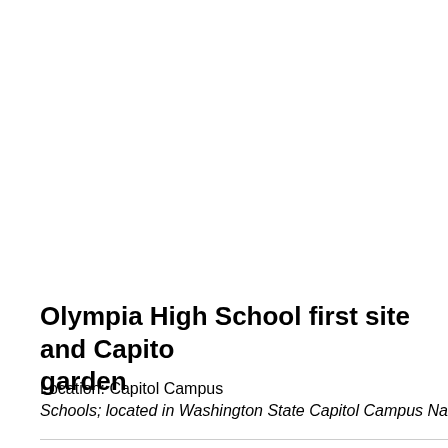Olympia High School first site and Capitol garden
Location: Capitol Campus
Schools; located in Washington State Capitol Campus Na